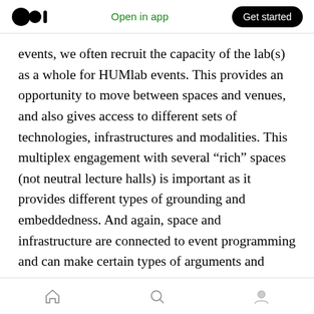Open in app | Get started
events, we often recruit the capacity of the lab(s) as a whole for HUMlab events. This provides an opportunity to move between spaces and venues, and also gives access to different sets of technologies, infrastructures and modalities. This multiplex engagement with several “rich” spaces (not neutral lecture halls) is important as it provides different types of grounding and embeddedness. And again, space and infrastructure are connected to event programming and can make certain types of arguments and expressions more likely.
Home | Search | Profile